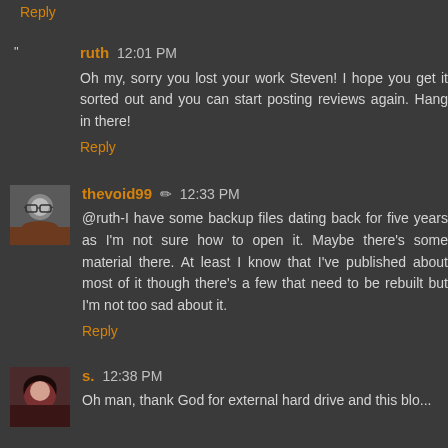Reply
ruth 12:01 PM
Oh my, sorry you lost your work Steven! I hope you get it sorted out and you can start posting reviews again. Hang in there!
Reply
thevoid99 ✏ 12:33 PM
@ruth-I have some backup files dating back for five years as I'm not sure how to open it. Maybe there's some material there. At least I know that I've published about most of it though there's a few that need to be rebuilt but I'm not too sad about it.
Reply
s. 12:38 PM
Oh man, thank God for external hard drive and this blog...